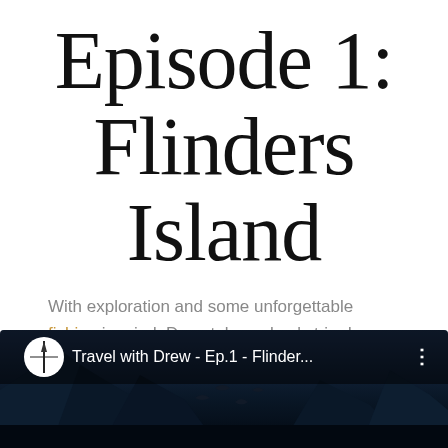Episode 1: Flinders Island
With exploration and some unforgettable fishing in mind, Drew takes a boy's trip down to the hidden gem of the Great Australian Bite, Flinders Island.
[Figure (screenshot): Video thumbnail/player screenshot showing 'Travel with Drew - Ep.1 - Flinder...' with a channel icon (compass/needle logo on white circle), dots menu button, and a dark nighttime landscape scene with mountain silhouettes and bird silhouettes in the lower portion.]